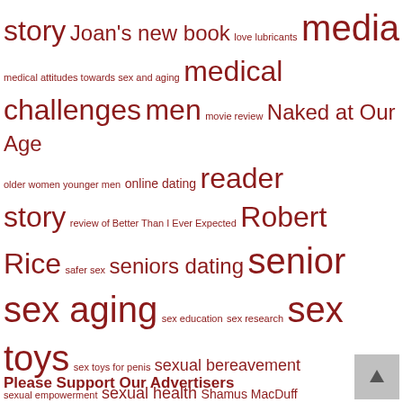story Joan's new book love lubricants media medical attitudes towards sex and aging medical challenges men movie review Naked at Our Age older women younger men online dating reader story review of Better Than I Ever Expected Robert Rice safer sex seniors dating senior sex aging sex education sex research sex toys sex toys for penis sexual bereavement sexual empowerment sexual health Shamus MacDuff single seniors solo sex vibrator review women younger men older women
Please Support Our Advertisers